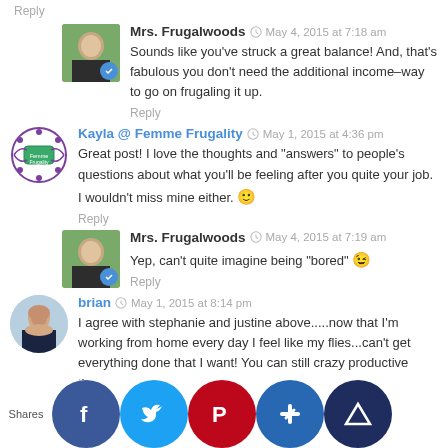Reply
Mrs. Frugalwoods  May 4, 2015 at 7:18 am
Sounds like you've struck a great balance! And, that's fabulous you don't need the additional income–way to go on frugaling it up.
Reply
Kayla @ Femme Frugality  May 1, 2015 at 4:36 pm
Great post! I love the thoughts and "answers" to people's questions about what you'll be feeling after you quite your job. I wouldn't miss mine either. 🙂
Reply
Mrs. Frugalwoods  May 4, 2015 at 7:19 am
Yep, can't quite imagine being "bored" 😉
Reply
brian  May 1, 2015 at 8:14 pm
I agree with stephanie and justine above.....now that I'm working from home every day I feel like my flies...can't get everything done that I want! You can still crazy productive the...